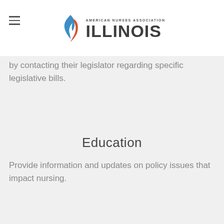American Nurses Association Illinois
by contacting their legislator regarding specific legislative bills.
Education
Provide information and updates on policy issues that impact nursing.